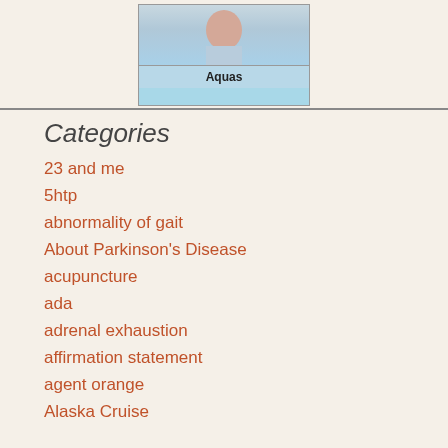[Figure (photo): Partial photo of a person near water with label 'Aquas' below]
Categories
23 and me
5htp
abnormality of gait
About Parkinson's Disease
acupuncture
ada
adrenal exhaustion
affirmation statement
agent orange
Alaska Cruise